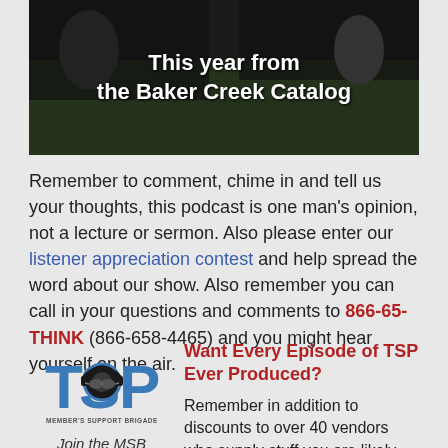[Figure (photo): Banner image with dark background showing people outdoors, with white bold text overlay reading 'This year from the Baker Creek Catalog']
Remember to comment, chime in and tell us your thoughts, this podcast is one man's opinion, not a lecture or sermon. Also please enter our listener appreciation contest and help spread the word about our show. Also remember you can call in your questions and comments to 866-65-THINK (866-658-4465) and you might hear yourself on the air.
[Figure (logo): TSP Member's Support Brigade logo — stylized letters T, S, P with a headphone graphic, text 'MEMBER'S SUPPORT BRIGADE' below]
Join the MSB Today
Want Every Episode of TSP Ever Produced?
Remember in addition to discounts to over 40 vendors who supply stuff you are likely buying anyway, tons of free ebooks and video content, MSB Members also get access to additional content…